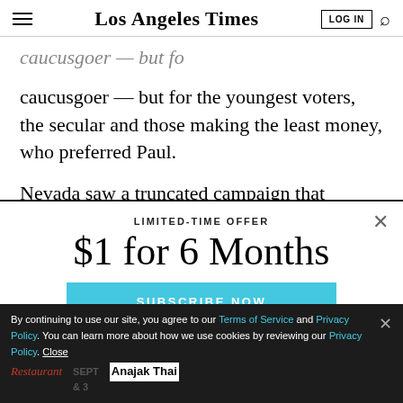Los Angeles Times
caucusgoer — but for the youngest voters, the secular and those making the least money, who preferred Paul.
Nevada saw a truncated campaign that disappointed many here who anticipated the state's turn on the
[Figure (screenshot): Modal overlay with LIMITED-TIME OFFER: $1 for 6 Months and SUBSCRIBE NOW button in cyan/light blue]
By continuing to use our site, you agree to our Terms of Service and Privacy Policy. You can learn more about how we use cookies by reviewing our Privacy Policy. Close